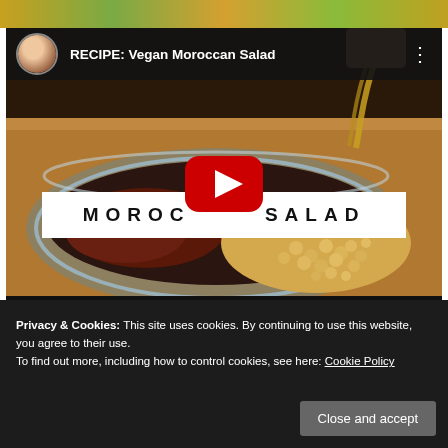[Figure (screenshot): Top strip showing colorful food image banner]
[Figure (screenshot): YouTube embed showing 'RECIPE: Vegan Moroccan Salad' video with thumbnail of a bowl of chickpeas and salad with dressing being poured, a red play button in center, and 'MOROCCAN SALAD' text banner overlay]
Privacy & Cookies: This site uses cookies. By continuing to use this website, you agree to their use.
To find out more, including how to control cookies, see here: Cookie Policy
Close and accept